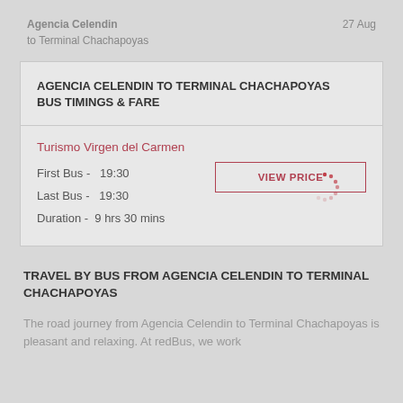Agencia Celendin to Terminal Chachapoyas
27 Aug
AGENCIA CELENDIN TO TERMINAL CHACHAPOYAS BUS TIMINGS & FARE
Turismo Virgen del Carmen
First Bus - 19:30
Last Bus - 19:30
Duration - 9 hrs 30 mins
TRAVEL BY BUS FROM AGENCIA CELENDIN TO TERMINAL CHACHAPOYAS
The road journey from Agencia Celendin to Terminal Chachapoyas is pleasant and relaxing. At redBus, we work